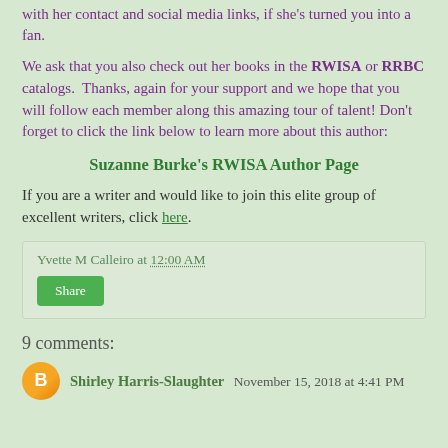with her contact and social media links, if she's turned you into a fan.
We ask that you also check out her books in the RWISA or RRBC catalogs.  Thanks, again for your support and we hope that you will follow each member along this amazing tour of talent!  Don't forget to click the link below to learn more about this author:
Suzanne Burke's RWISA Author Page
If you are a writer and would like to join this elite group of excellent writers, click here.
Yvette M Calleiro at 12:00 AM
Share
9 comments:
Shirley Harris-Slaughter November 15, 2018 at 4:41 PM